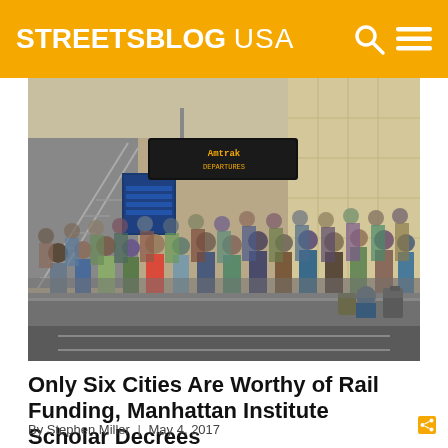STREETSBLOG USA
[Figure (photo): Large crowd of passengers waiting on a train platform inside a transit station. Escalators visible on the left, an amber departure board sign hanging from the ceiling in the center, beige/tan tiled walls on the right.]
Only Six Cities Are Worthy of Rail Funding, Manhattan Institute Scholar Decrees
By Stephen Miller | May 4, 2017